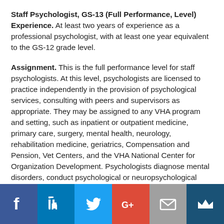Staff Psychologist, GS-13 (Full Performance, Level) Experience. At least two years of experience as a professional psychologist, with at least one year equivalent to the GS-12 grade level.
Assignment. This is the full performance level for staff psychologists. At this level, psychologists are licensed to practice independently in the provision of psychological services, consulting with peers and supervisors as appropriate. They may be assigned to any VHA program and setting, such as inpatient or outpatient medicine, primary care, surgery, mental health, neurology, rehabilitation medicine, geriatrics, Compensation and Pension, Vet Centers, and the VHA National Center for Organization Development. Psychologists diagnose mental disorders, conduct psychological or neuropsychological assessments, treat mental disorders through a variety of modalities, and
Social media icons: Facebook, LinkedIn, Twitter, Google+, Email, Crown